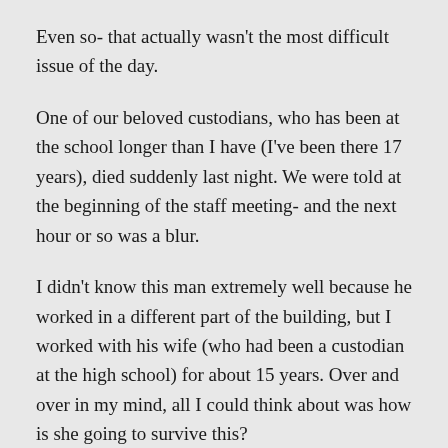Even so- that actually wasn't the most difficult issue of the day.
One of our beloved custodians, who has been at the school longer than I have (I've been there 17 years), died suddenly last night. We were told at the beginning of the staff meeting- and the next hour or so was a blur.
I didn't know this man extremely well because he worked in a different part of the building, but I worked with his wife (who had been a custodian at the high school) for about 15 years. Over and over in my mind, all I could think about was how is she going to survive this?
And then...